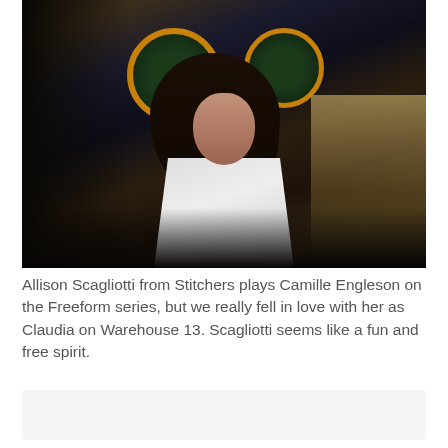[Figure (photo): A young woman with long dark wavy hair wearing a white t-shirt stands in what appears to be a dark indoor location with orange-rimmed circular signs or lights in the background. She has a serious or concerned expression.]
Allison Scagliotti from Stitchers plays Camille Engleson on the Freeform series, but we really fell in love with her as Claudia on Warehouse 13. Scagliotti seems like a fun and free spirit.